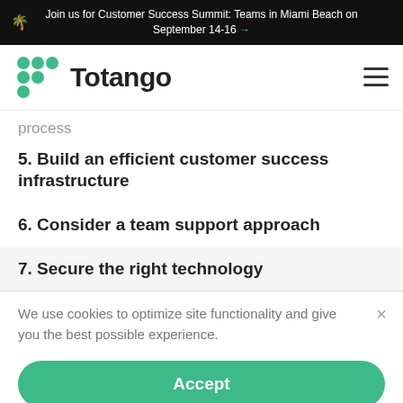Join us for Customer Success Summit: Teams in Miami Beach on September 14-16 →
[Figure (logo): Totango logo with green dot grid and wordmark, plus hamburger menu icon]
process
5. Build an efficient customer success infrastructure
6. Consider a team support approach
7. Secure the right technology
We use cookies to optimize site functionality and give you the best possible experience.
Accept
Learn more and customize